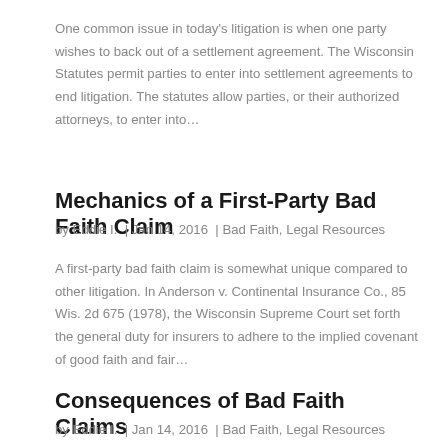One common issue in today's litigation is when one party wishes to back out of a settlement agreement. The Wisconsin Statutes permit parties to enter into settlement agreements to end litigation. The statutes allow parties, or their authorized attorneys, to enter into…
Mechanics of a First-Party Bad Faith Claim
by Eddie I.  |  Jan 14, 2016  |  Bad Faith, Legal Resources
A first-party bad faith claim is somewhat unique compared to other litigation. In Anderson v. Continental Insurance Co., 85 Wis. 2d 675 (1978), the Wisconsin Supreme Court set forth the general duty for insurers to adhere to the implied covenant of good faith and fair…
Consequences of Bad Faith Claims
by Eddie I.  |  Jan 14, 2016  |  Bad Faith, Legal Resources